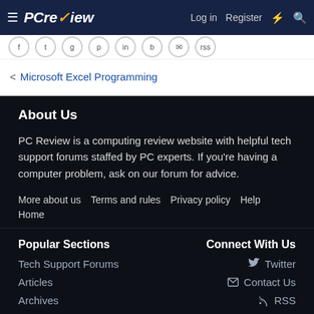PC Review — Log in  Register
< Microsoft Excel Programming
About Us
PC Review is a computing review website with helpful tech support forums staffed by PC experts. If you're having a computer problem, ask on our forum for advice.
More about us
Terms and rules
Privacy policy
Help
Home
Popular Sections
Connect With Us
Tech Support Forums
Articles
Archives
Twitter
Contact Us
RSS